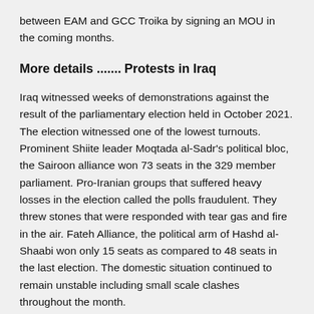between EAM and GCC Troika by signing an MOU in the coming months.
More details .......
Protests in Iraq
Iraq witnessed weeks of demonstrations against the result of the parliamentary election held in October 2021. The election witnessed one of the lowest turnouts. Prominent Shiite leader Moqtada al-Sadr's political bloc, the Sairoon alliance won 73 seats in the 329 member parliament. Pro-Iranian groups that suffered heavy losses in the election called the polls fraudulent. They threw stones that were responded with tear gas and fire in the air. Fateh Alliance, the political arm of Hashd al-Shaabi won only 15 seats as compared to 48 seats in the last election. The domestic situation continued to remain unstable including small scale clashes throughout the month.